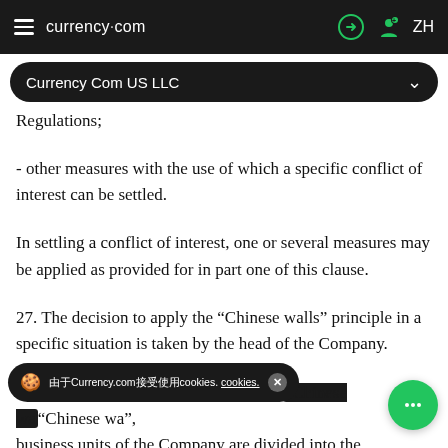currency.com — Currency Com US LLC — ZH
Regulations;
- other measures with the use of which a specific conflict of interest can be settled.
In settling a conflict of interest, one or several measures may be applied as provided for in part one of this clause.
27. The decision to apply the “Chinese walls” principle in a specific situation is taken by the head of the Company.
In accordance with the principle of the “Chinese walls”, business units of the Company are divided into the following types, depending on the presence of...